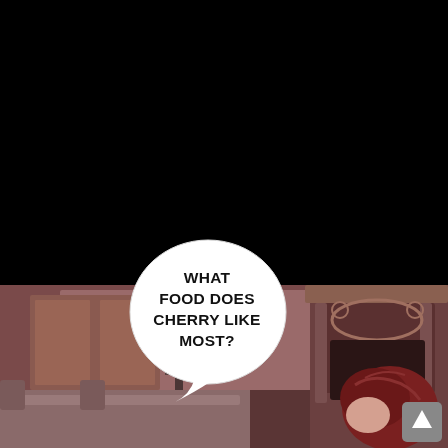[Figure (illustration): Manga/webtoon page. Top half is a solid black panel. Bottom half shows an interior scene with a fireplace/mantle on the right, dark furniture and fireplace tools on the left, and a character with dark red/maroon hair visible at the bottom right, seated. A white oval speech bubble overlaps the two panels containing the text 'WHAT FOOD DOES CHERRY LIKE MOST?'. A small scroll-up arrow button appears in the bottom right corner.]
WHAT FOOD DOES CHERRY LIKE MOST?